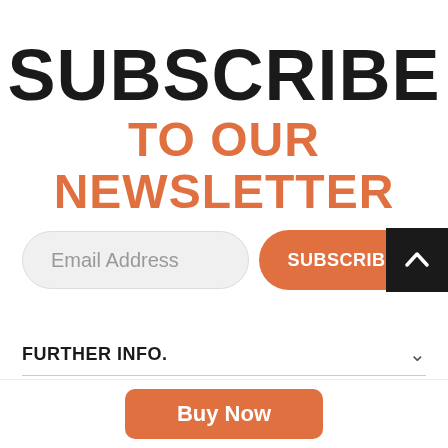SUBSCRIBE
TO OUR NEWSLETTER
Email Address
SUBSCRIBE
FURTHER INFO.
QUICK LINKS
Buy Now